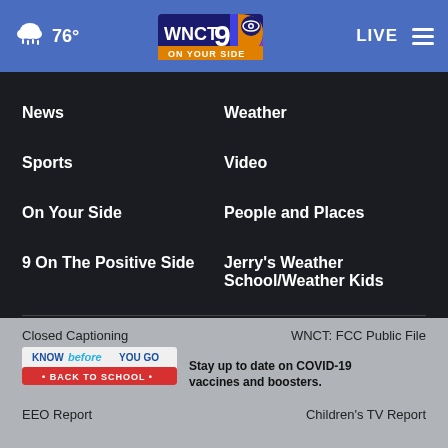76° WNCT 9 ON YOUR SIDE LIVE
News
Weather
Sports
Video
On Your Side
People and Places
9 On The Positive Side
Jerry's Weather School/Weather Kids
WNCT Podcast Network
Closed Captioning   WNCT: FCC Public File   Know Before You Go Back to School   Stay up to date on COVID-19 vaccines and boosters.   EEO Report   Children's TV Report